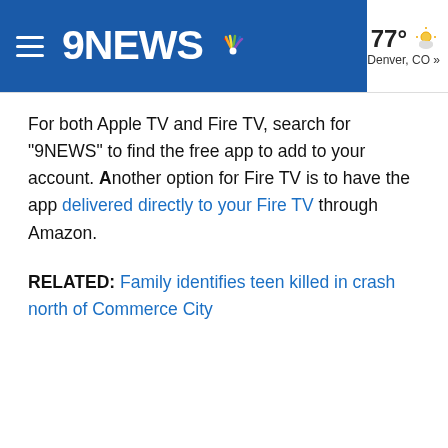9NEWS — 77° Denver, CO »
For both Apple TV and Fire TV, search for "9NEWS" to find the free app to add to your account. Another option for Fire TV is to have the app delivered directly to your Fire TV through Amazon.
RELATED: Family identifies teen killed in crash north of Commerce City